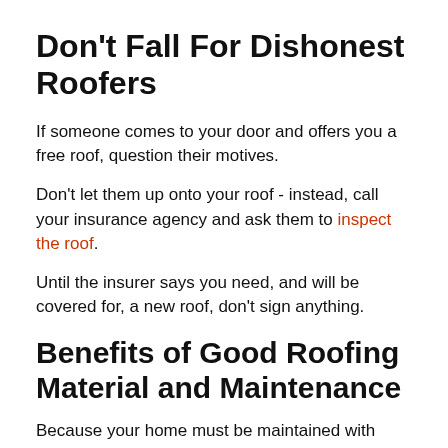Don't Fall For Dishonest Roofers
If someone comes to your door and offers you a free roof, question their motives.
Don't let them up onto your roof - instead, call your insurance agency and ask them to inspect the roof.
Until the insurer says you need, and will be covered for, a new roof, don't sign anything.
Benefits of Good Roofing Material and Maintenance
Because your home must be maintained with great care, you must consider important factors like the material you use for the roof.
If you don't take care of this, you lose your time...